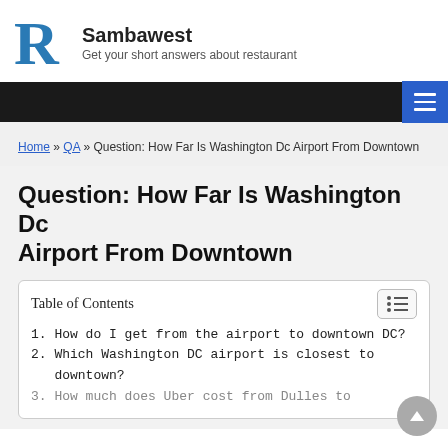Sambawest — Get your short answers about restaurant
Home » QA » Question: How Far Is Washington Dc Airport From Downtown
Question: How Far Is Washington Dc Airport From Downtown
Table of Contents
1. How do I get from the airport to downtown DC?
2. Which Washington DC airport is closest to downtown?
3. How much does Uber cost from Dulles to